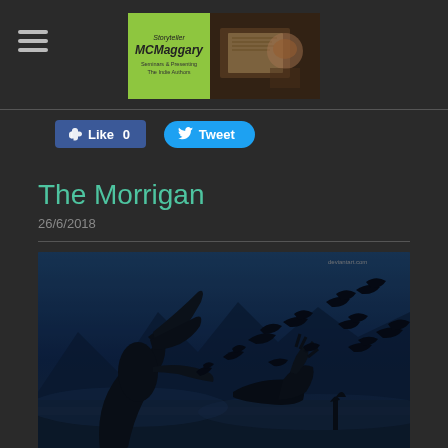Storyteller MCMaggary — Seminars & Presenting the Indie Authors
Like 0   Tweet
The Morrigan
26/6/2018
[Figure (illustration): Dark fantasy illustration of a cloaked woman with flowing black hair standing with back turned, surrounded by a flock of crows/ravens flying around her and a fallen figure, set against a dark blue misty mountain landscape.]